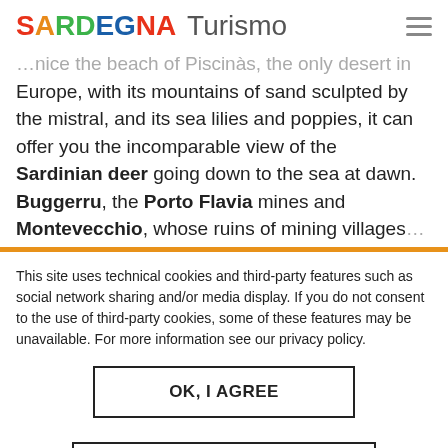SARDEGNA Turismo
…nice the beach of Piscinàs, the only desert in Europe, with its mountains of sand sculpted by the mistral, and its sea lilies and poppies, it can offer you the incomparable view of the Sardinian deer going down to the sea at dawn. Buggerru, the Porto Flavia mines and Montevecchio, whose ruins of mining villages…
This site uses technical cookies and third-party features such as social network sharing and/or media display. If you do not consent to the use of third-party cookies, some of these features may be unavailable. For more information see our privacy policy.
OK, I AGREE
NO, GIVE ME MORE INFO